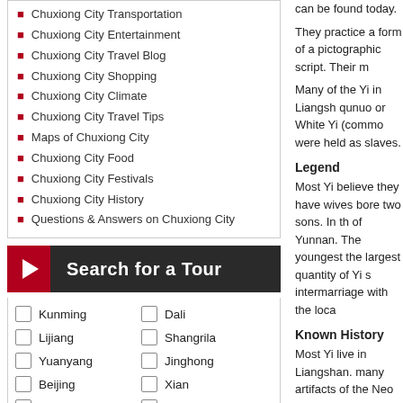Chuxiong City Transportation
Chuxiong City Entertainment
Chuxiong City Travel Blog
Chuxiong City Shopping
Chuxiong City Climate
Chuxiong City Travel Tips
Maps of Chuxiong City
Chuxiong City Food
Chuxiong City Festivals
Chuxiong City History
Questions & Answers on Chuxiong City
[Figure (other): Search for a Tour button with play icon and city checkboxes: Kunming, Dali, Lijiang, Shangrila, Yuanyang, Jinghong, Beijing, Xian, Shanghai, Guilin]
can be found today.
They practice a form of a pictographic script. Their m
Many of the Yi in Liangsh qunuo or White Yi (commo were held as slaves.
Legend
Most Yi believe they have wives bore two sons. In th of Yunnan. The youngest the largest quantity of Yi s intermarriage with the loca
Known History
Most Yi live in Liangshan. many artifacts of the Neo